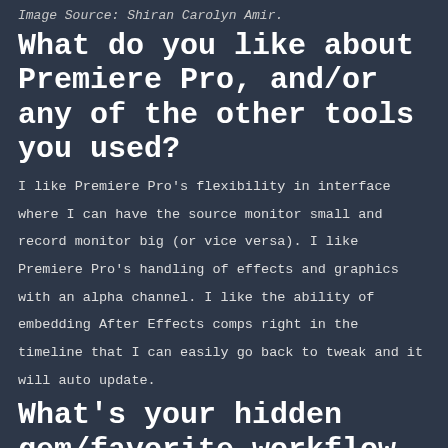Image Source: Shiran Carolyn Amir.
What do you like about Premiere Pro, and/or any of the other tools you used?
I like Premiere Pro's flexibility in interface where I can have the source monitor small and record monitor big (or vice versa). I like Premiere Pro's handling of effects and graphics with an alpha channel. I like the ability of embedding After Effects comps right in the timeline that I can easily go back to tweak and it will auto update.
What's your hidden gem/favorite workflow hack in Adobe Creative Cloud?